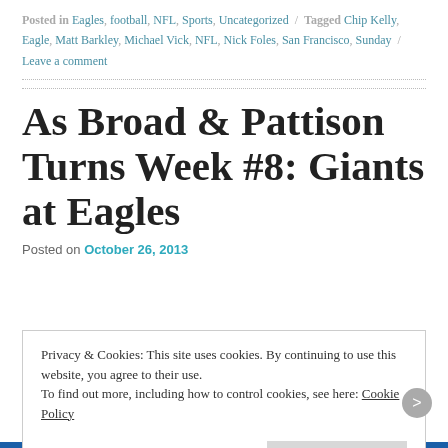Posted in Eagles, football, NFL, Sports, Uncategorized / Tagged Chip Kelly, Eagle, Matt Barkley, Michael Vick, NFL, Nick Foles, San Francisco, Sunday / Leave a comment
As Broad & Pattison Turns Week #8: Giants at Eagles
Posted on October 26, 2013
Privacy & Cookies: This site uses cookies. By continuing to use this website, you agree to their use.
To find out more, including how to control cookies, see here: Cookie Policy
Close and accept